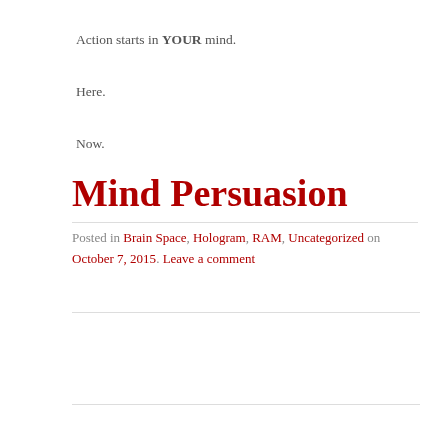Action starts in YOUR mind.
Here.
Now.
Mind Persuasion
Posted in Brain Space, Hologram, RAM, Uncategorized on October 7, 2015. Leave a comment